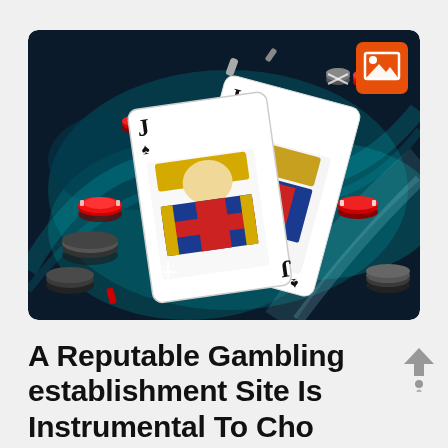[Figure (photo): Casino themed photo showing playing cards (Jack of spades in foreground, Jack and Ace in background) with poker chips (red and black/grey) scattered around on a dark teal/blue glowing background. An orange image placeholder icon is visible in the top right corner of the image.]
A Reputable Gambling establishment Site Is Instrumental To Choosing...